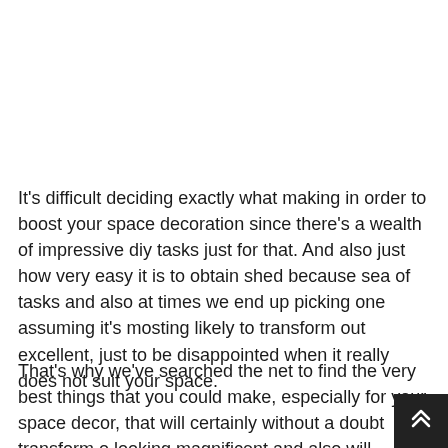It's difficult deciding exactly what making in order to boost your space decoration since there's a wealth of impressive diy tasks just for that. And also just how very easy it is to obtain shed because sea of tasks and also at times we end up picking one assuming it's mosting likely to transform out excellent, just to be disappointed when it really does not suit your space.
That's why we've searched the net to find the very best things that you could make, especially for your space decor, that will certainly without a doubt transform or looking magnificent and also will certainly most absolutely opt for any type of space style.